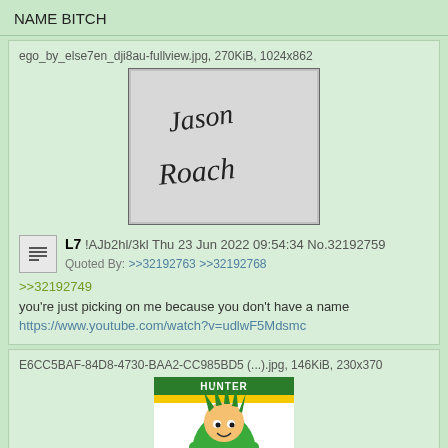NAME BITCH
ego_by_else7en_dji8au-fullview.jpg, 270KiB, 1024x862
[Figure (photo): Handwritten signature reading 'Jason Roach' in cursive on a light background]
L7 !AJb2hl/3kl Thu 23 Jun 2022 09:54:34 No.32192759
Quoted By: >>32192763 >>32192768
>>32192749
you're just picking on me because you don't have a name
https://www.youtube.com/watch?v=udlwF5Mdsmc
E6CC5BAF-84D8-4730-BAA2-CC985BD5 (...).jpg, 146KiB, 230x370
[Figure (illustration): Hunter x Hunter manga cover illustration showing Gon character with green outfit and spiky hair, with HUNTER x HUNTER logo text and colored circles at the bottom]